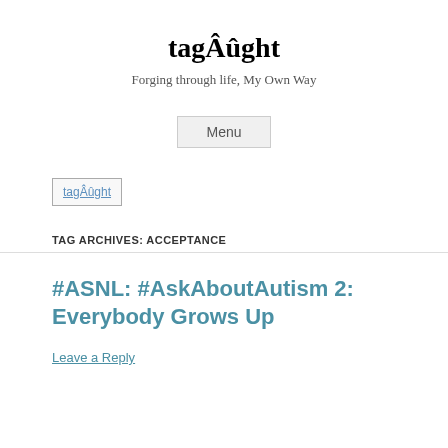tagÂûght
Forging through life, My Own Way
Menu
[Figure (other): tagÂûght logo image placeholder]
TAG ARCHIVES: ACCEPTANCE
#ASNL: #AskAboutAutism 2: Everybody Grows Up
Leave a Reply